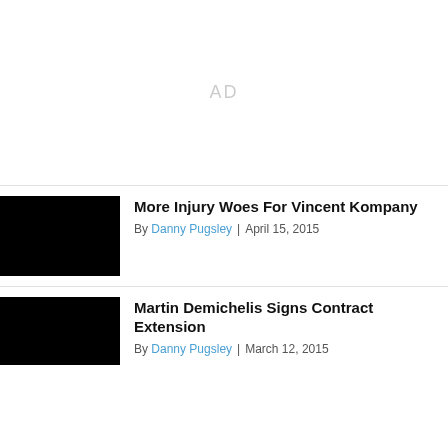[Figure (other): Advertisement placeholder area with 'AD' text in gray]
More Injury Woes For Vincent Kompany
By Danny Pugsley | April 15, 2015
Martin Demichelis Signs Contract Extension
By Danny Pugsley | March 12, 2015